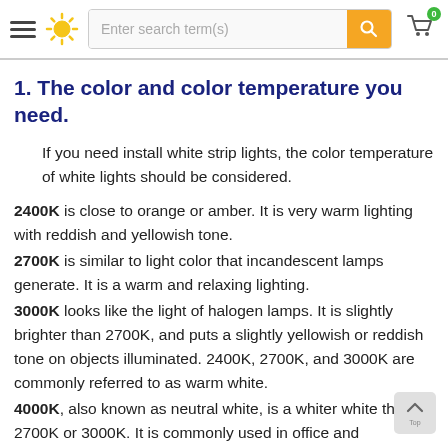Enter search term(s)
1. The color and color temperature you need.
If you need install white strip lights, the color temperature of white lights should be considered.
2400K is close to orange or amber. It is very warm lighting with reddish and yellowish tone.
2700K is similar to light color that incandescent lamps generate. It is a warm and relaxing lighting.
3000K looks like the light of halogen lamps. It is slightly brighter than 2700K, and puts a slightly yellowish or reddish tone on objects illuminated. 2400K, 2700K, and 3000K are commonly referred to as warm white.
4000K, also known as neutral white, is a whiter white than 2700K or 3000K. It is commonly used in office and commercial lighting.